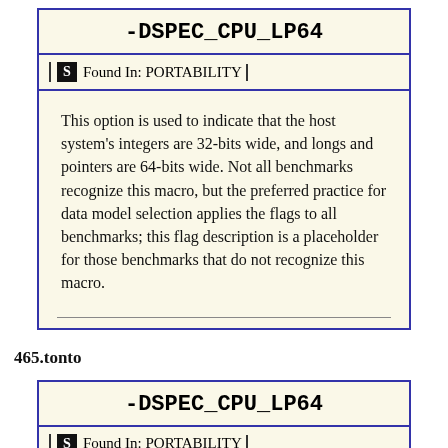-DSPEC_CPU_LP64
Found In: PORTABILITY
This option is used to indicate that the host system's integers are 32-bits wide, and longs and pointers are 64-bits wide. Not all benchmarks recognize this macro, but the preferred practice for data model selection applies the flags to all benchmarks; this flag description is a placeholder for those benchmarks that do not recognize this macro.
465.tonto
-DSPEC_CPU_LP64
Found In: PORTABILITY